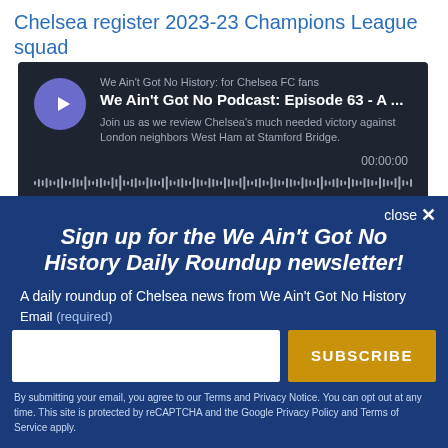Chelsea register 2023-23 Champions League squad
[Figure (screenshot): Podcast player widget with dark background showing 'We Ain't Got No History: for Chelsea FC fans' podcast, Episode 63, with play button, waveform and timer 00:00:00]
close ×
Sign up for the We Ain't Got No History Daily Roundup newsletter!
A daily roundup of Chelsea news from We Ain't Got No History
Email (required)
SUBSCRIBE
By submitting your email, you agree to our Terms and Privacy Notice. You can opt out at any time. This site is protected by reCAPTCHA and the Google Privacy Policy and Terms of Service apply.